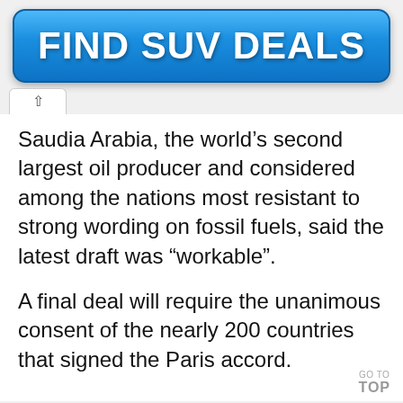[Figure (other): Blue rounded rectangle advertisement button with white bold text reading FIND SUV DEALS]
Saudia Arabia, the world’s second largest oil producer and considered among the nations most resistant to strong wording on fossil fuels, said the latest draft was “workable”.
A final deal will require the unanimous consent of the nearly 200 countries that signed the Paris accord.
GO TO TOP